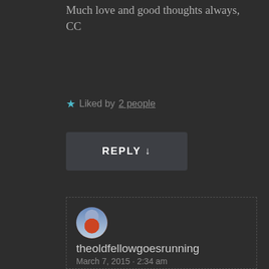Much love and good thoughts always,
CC
Liked by 2 people
REPLY ↓
theoldfellowgoesrunning
March 7, 2015 · 2:34 am
Thank you so much CC. Yes, warmer weather next week, even ABOVE freezing temperatures, which is wonderful 🙂